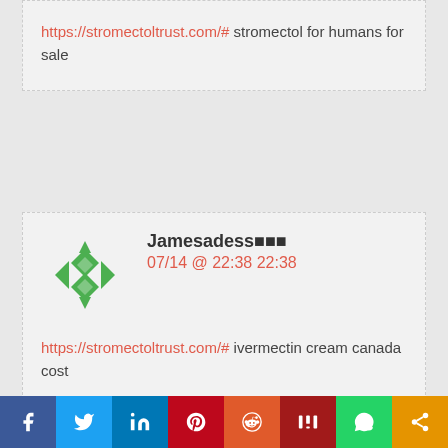https://stromectoltrust.com/# stromectol for humans for sale
Jamesadess■■■
07/14 @ 22:38 22:38
https://stromectoltrust.com/# ivermectin cream canada cost
furosemide 20 mg tabs■■■
07/15 @ 13:47 13:47
[Figure (other): Social media sharing bar with icons: Facebook, Twitter, LinkedIn, Pinterest, Reddit, Mix, WhatsApp, Share]